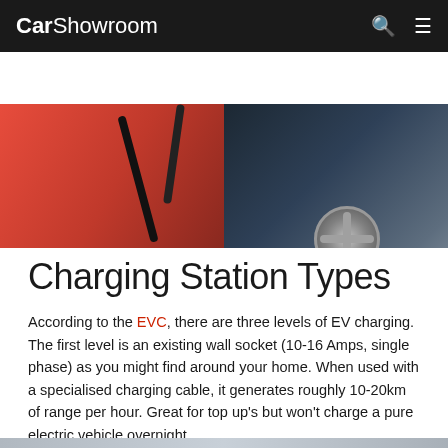CarShowroom
[Figure (photo): Close-up photo of a red Nissan electric vehicle being charged, showing the car body, charging cable, and Nissan emblem. CarShowroom watermark in bottom right.]
Charging Station Types
According to the EVC, there are three levels of EV charging. The first level is an existing wall socket (10-16 Amps, single phase) as you might find around your home. When used with a specialised charging cable, it generates roughly 10-20km of range per hour. Great for top up's but won't charge a pure electric vehicle overnight.
The second level is a dedicated AC charging port with up to 7kW (32 Amps, single phase) charging capacity. These chargers are typically found in shopping malls, office, hotels, etc. and can add up to 40km of range for every hour they're plugged in.